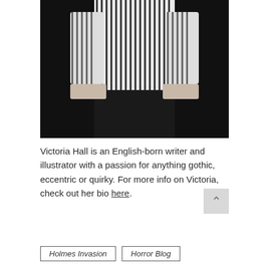[Figure (photo): Black and white photograph of a person (torso/body, no head visible) wearing a striped button-up shirt with hands in dark trouser pockets, against a dark background.]
Victoria Hall is an English-born writer and illustrator with a passion for anything gothic, eccentric or quirky. For more info on Victoria, check out her bio here.
Holmes Invasion
Horror Blog